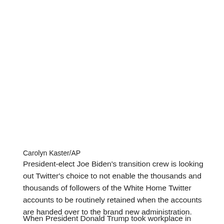Carolyn Kaster/AP
President-elect Joe Biden's transition crew is looking out Twitter's choice to not enable the thousands and thousands of followers of the White Home Twitter accounts to be routinely retained when the accounts are handed over to the brand new administration.
When President Donald Trump took workplace in 2017, his